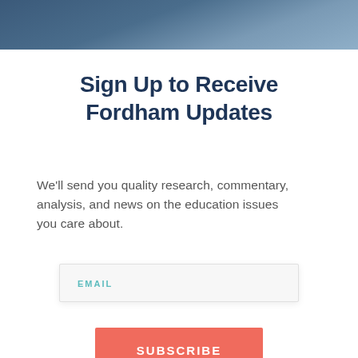[Figure (photo): Dark blue/slate header image, appears to be a cropped photo with dark blue tones at the top of the page]
Sign Up to Receive Fordham Updates
We'll send you quality research, commentary, analysis, and news on the education issues you care about.
EMAIL
SUBSCRIBE